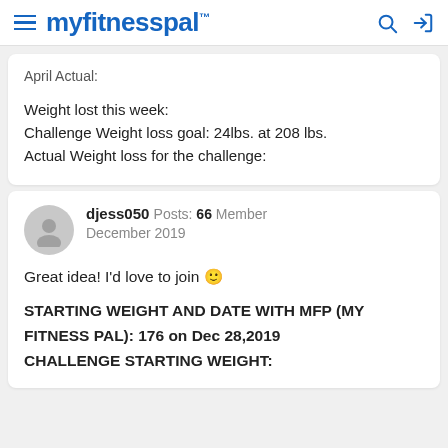myfitnesspal
April Actual:

Weight lost this week:
Challenge Weight loss goal: 24lbs. at 208 lbs.
Actual Weight loss for the challenge:
djess050  Posts: 66  Member
December 2019
Great idea! I'd love to join 🙂
STARTING WEIGHT AND DATE WITH MFP (MY FITNESS PAL): 176 on Dec 28,2019
CHALLENGE STARTING WEIGHT: